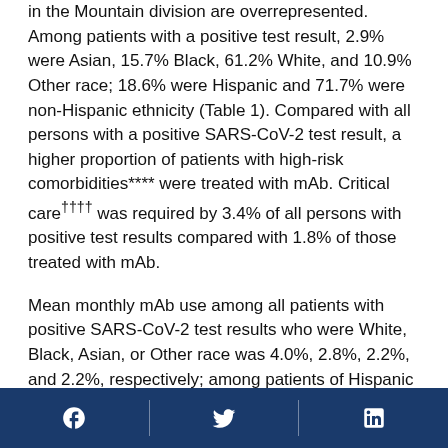in the Mountain division are overrepresented. Among patients with a positive test result, 2.9% were Asian, 15.7% Black, 61.2% White, and 10.9% Other race; 18.6% were Hispanic and 71.7% were non-Hispanic ethnicity (Table 1). Compared with all persons with a positive SARS-CoV-2 test result, a higher proportion of patients with high-risk comorbidities**** were treated with mAb. Critical care†††† was required by 3.4% of all persons with positive test results compared with 1.8% of those treated with mAb.
Mean monthly mAb use among all patients with positive SARS-CoV-2 test results who were White, Black, Asian, or Other race was 4.0%, 2.8%, 2.2%, and 2.2%, respectively; among patients of Hispanic or non-Hispanic ethnicity, mAb use was 1.8% and 4.0%, respectively. Patients who were Black, Asian, or Other
Facebook | Twitter | LinkedIn